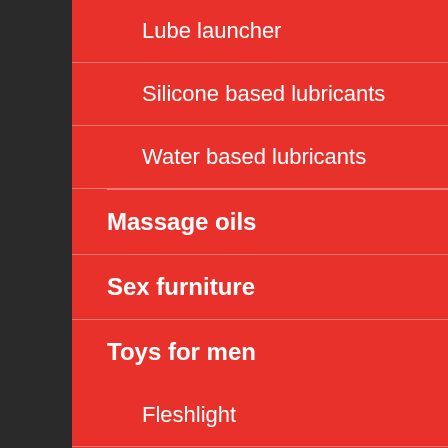Lube launcher
Silicone based lubricants
Water based lubricants
Massage oils
Sex furniture
Toys for men
Fleshlight
Tenga
Uncategorized